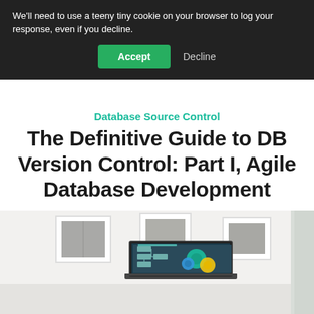We'll need to use a teeny tiny cookie on your browser to log your response, even if you decline.
Accept
Decline
Database Source Control
The Definitive Guide to DB Version Control: Part I, Agile Database Development
[Figure (photo): A minimalist room with three framed pictures on a white wall above a laptop displaying a database/version control diagram with gears]